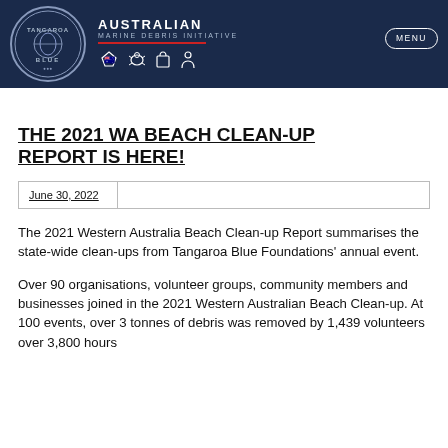AUSTRALIAN MARINE DEBRIS INITIATIVE — Tangaroa Blue
THE 2021 WA BEACH CLEAN-UP REPORT IS HERE!
June 30, 2022
The 2021 Western Australia Beach Clean-up Report summarises the state-wide clean-ups from Tangaroa Blue Foundations' annual event.
Over 90 organisations, volunteer groups, community members and businesses joined in the 2021 Western Australian Beach Clean-up. At 100 events, over 3 tonnes of debris was removed by 1,439 volunteers over 3,800 hours